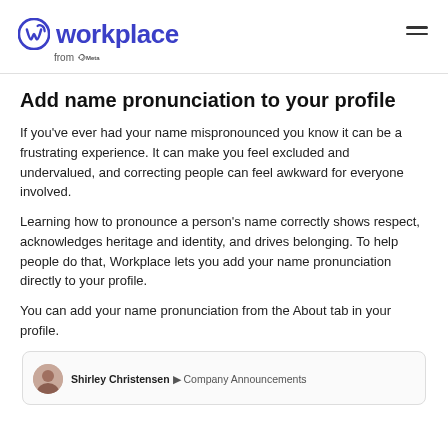Workplace from Meta
Add name pronunciation to your profile
If you've ever had your name mispronounced you know it can be a frustrating experience. It can make you feel excluded and undervalued, and correcting people can feel awkward for everyone involved.
Learning how to pronounce a person's name correctly shows respect, acknowledges heritage and identity, and drives belonging. To help people do that, Workplace lets you add your name pronunciation directly to your profile.
You can add your name pronunciation from the About tab in your profile.
[Figure (screenshot): Screenshot showing Shirley Christensen posting to Company Announcements in Workplace]